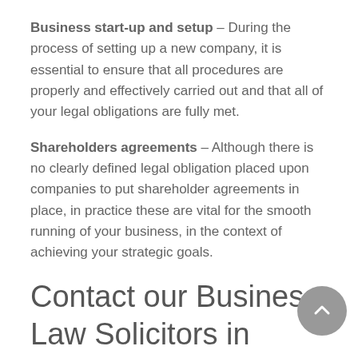Business start-up and setup – During the process of setting up a new company, it is essential to ensure that all procedures are properly and effectively carried out and that all of your legal obligations are fully met.
Shareholders agreements – Although there is no clearly defined legal obligation placed upon companies to put shareholder agreements in place, in practice these are vital for the smooth running of your business, in the context of achieving your strategic goals.
Contact our Business Law Solicitors in London
To arrange a consultation, speak with a member of our commercial team today on 0207 7go 2000 or